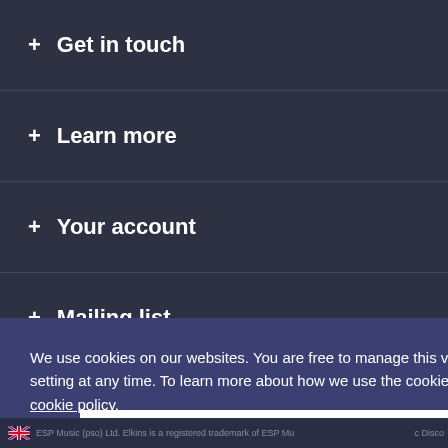+ Get in touch
+ Learn more
+ Your account
+ Mailing list
We use cookies on our websites. You are free to manage this via your browser setting at any time. To learn more about how we use the cookies  please see our cookie policy.
Close
ESP Music (pso) Ltd. Elkins is a registered trademark of ESP Mu c Disco Ltd.